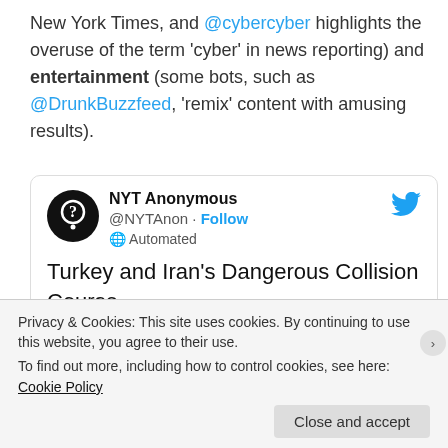New York Times, and @cybercyber highlights the overuse of the term 'cyber' in news reporting) and entertainment (some bots, such as @DrunkBuzzfeed, 'remix' content with amusing results).
[Figure (screenshot): Embedded tweet from NYT Anonymous (@NYTAnon) with Follow button and Automated label, showing tweet text 'Turkey and Iran's Dangerous Collision Course nytimes.com/2016/12/18/opi...' and a partial article preview card showing 'in Syria" after the civil w']
Privacy & Cookies: This site uses cookies. By continuing to use this website, you agree to their use.
To find out more, including how to control cookies, see here: Cookie Policy